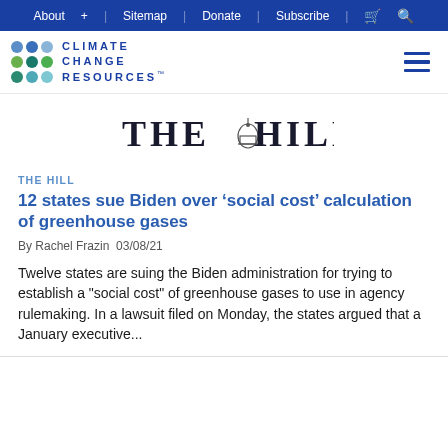About + | Sitemap | Donate | Subscribe | [cart] | [search]
[Figure (logo): Climate Change Resources logo with colored dots grid and text]
[Figure (logo): The Hill publication logo in serif black text with Capitol dome icon]
THE HILL
12 states sue Biden over ‘social cost’ calculation of greenhouse gases
By Rachel Frazin  03/08/21
Twelve states are suing the Biden administration for trying to establish a "social cost" of greenhouse gases to use in agency rulemaking. In a lawsuit filed on Monday, the states argued that a January executive...